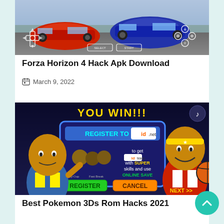[Figure (screenshot): Screenshot of Forza Horizon 4 racing game with PSP-style controls overlay, showing two sports cars on a road]
Forza Horizon 4 Hack Apk Download
March 9, 2022
[Figure (screenshot): Screenshot of a basketball mobile game showing cartoon player characters with a REGISTER/CANCEL dialog from id.net with YOU WIN!!! text at top]
Best Pokemon 3Ds Rom Hacks 2021